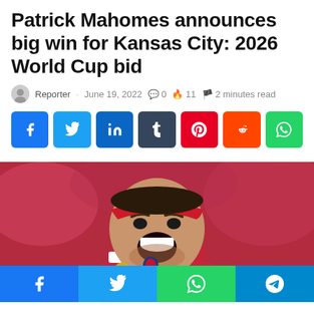Patrick Mahomes announces big win for Kansas City: 2026 World Cup bid
Reporter · June 19, 2022 · 0 · 11 · 2 minutes read
[Figure (other): Social share buttons: Facebook, Twitter, LinkedIn, Tumblr, Pinterest, Reddit, WhatsApp]
[Figure (photo): Patrick Mahomes in Kansas City Chiefs red jersey number 15, celebrating with mouth open, wearing a red headband]
[Figure (other): Bottom share bar with Facebook, Twitter, WhatsApp, and Telegram icons]